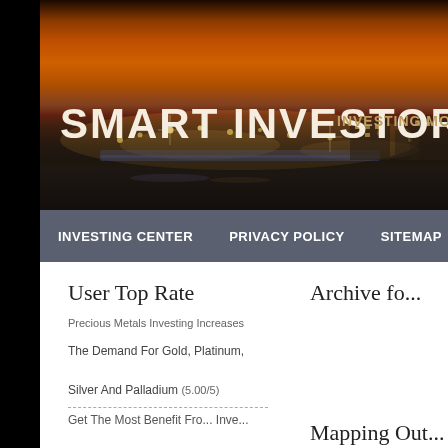[Figure (photo): Night city skyline banner photo with orange glowing sky and bridge lights, with overlay text 'SMART INVESTOR INVESTING MO...']
SMART INVESTOR   INVESTING MO...
INVESTING CENTER   PRIVACY POLICY   SITEMAP
User Top Rate
Precious Metals Investing Increases
The Demand For Gold, Platinum,
Silver And Palladium (5.00/5)
Archive fo...
Mapping Out...
Get The Most Benefit Fro... Inve...